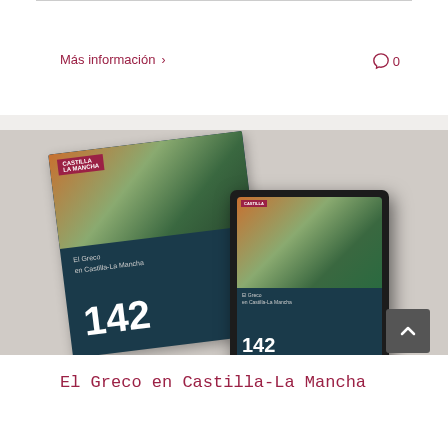Más información ›
0
[Figure (photo): Magazine covers and tablet showing 'El Greco en Castilla-La Mancha' publication, issue 142, with El Greco painting on the cover]
El Greco en Castilla-La Mancha